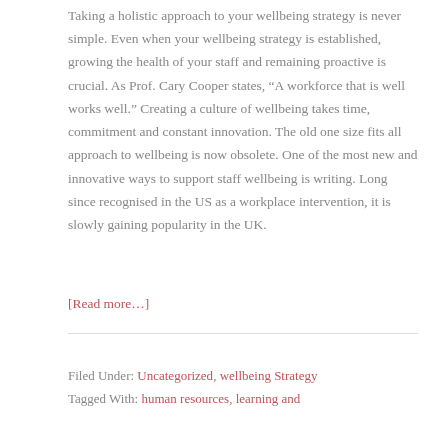Taking a holistic approach to your wellbeing strategy is never simple. Even when your wellbeing strategy is established, growing the health of your staff and remaining proactive is crucial. As Prof. Cary Cooper states, “A workforce that is well works well.” Creating a culture of wellbeing takes time, commitment and constant innovation. The old one size fits all approach to wellbeing is now obsolete. One of the most new and innovative ways to support staff wellbeing is writing. Long since recognised in the US as a workplace intervention, it is slowly gaining popularity in the UK.
[Read more...]
Filed Under: Uncategorized, wellbeing Strategy
Tagged With: human resources, learning and development, wellbeing, wellbeing strategy